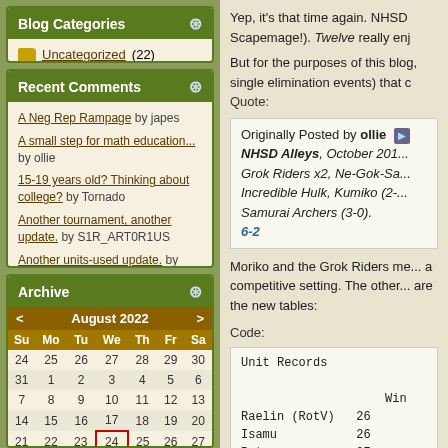Blog Categories
Uncategorized (22)
Recent Comments
A Neg Rep Rampage by japes
A small step for math education... by ollie
15-19 years old? Thinking about college? by Tornado
Another tournament, another update. by S1R_ART0R1US
Another units-used update. by ollie
Archive
| Su | Mo | Tu | We | Th | Fr | Sa |
| --- | --- | --- | --- | --- | --- | --- |
| 24 | 25 | 26 | 27 | 28 | 29 | 30 |
| 31 | 1 | 2 | 3 | 4 | 5 | 6 |
| 7 | 8 | 9 | 10 | 11 | 12 | 13 |
| 14 | 15 | 16 | 17 | 18 | 19 | 20 |
| 21 | 22 | 23 | 24 | 25 | 26 | 27 |
| 28 | 29 | 30 | 31 | 1 | 2 | 3 |
Yep, it's that time again. NHSD Scapemage!). Twelve really enj
But for the purposes of this blog, single elimination events) that c
Quote: Originally Posted by ollie NHSD Alleys, October 201... Grok Riders x2, Ne-Gok-Sa... Incredible Hulk, Kumiko (2-... Samurai Archers (3-0). 6-2
Moriko and the Grok Riders me... a competitive setting. The other... are the new tables:
Code: Unit Records  Win  Raelin (RotV) 26  Isamu 26  Rats 27  Krav Maga Agents16  Marro Warriors 15  Major Q9 16  Airborne